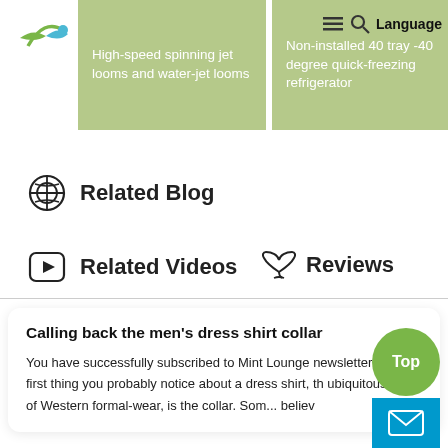[Figure (screenshot): Website header with logo (green/blue bird figure), navigation cards with green background showing product listings, and menu/search/language icons]
Related Blog
Related Videos
Reviews
Calling back the men's dress shirt collar
You have successfully subscribed to Mint Lounge newsletter. The first thing you probably notice about a dress shirt, the ubiquitous part of Western formal-wear, is the collar. Som... believ